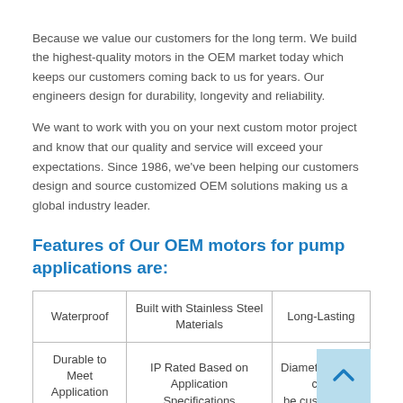Because we value our customers for the long term. We build the highest-quality motors in the OEM market today which keeps our customers coming back to us for years. Our engineers design for durability, longevity and reliability.
We want to work with you on your next custom motor project and know that our quality and service will exceed your expectations. Since 1986, we've been helping our customers design and source customized OEM solutions making us a global industry leader.
Features of Our OEM motors for pump applications are:
| Waterproof | Built with Stainless Steel Materials | Long-Lasting |
| Durable to Meet Application Requirements | IP Rated Based on Application Specifications | Diameter range can be customized |